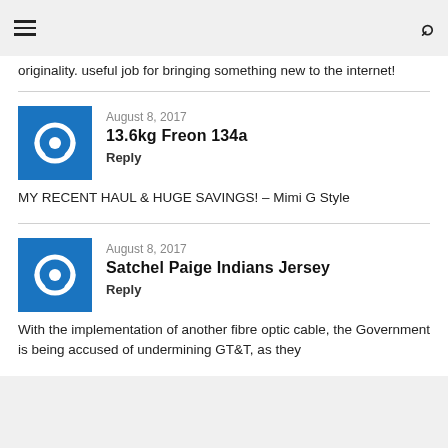≡   🔍
originality. useful job for bringing something new to the internet!
August 8, 2017
13.6kg Freon 134a
Reply
MY RECENT HAUL & HUGE SAVINGS! – Mimi G Style
August 8, 2017
Satchel Paige Indians Jersey
Reply
With the implementation of another fibre optic cable, the Government is being accused of undermining GT&T, as they